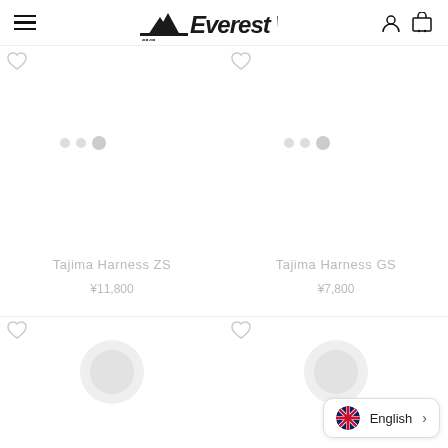Everest Work
Tajima Harness ZS
¥11,800
Tajima Harness GS
¥7,800
English